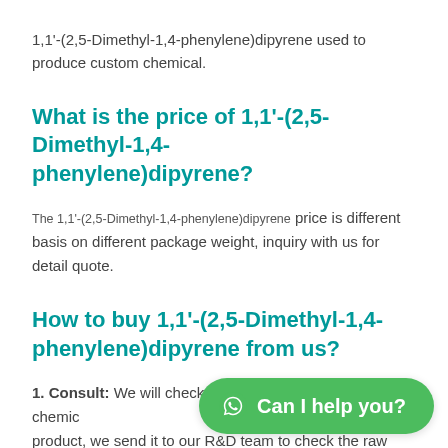1,1'-(2,5-Dimethyl-1,4-phenylene)dipyrene used to produce custom chemical.
What is the price of 1,1'-(2,5-Dimethyl-1,4-phenylene)dipyrene?
The 1,1'-(2,5-Dimethyl-1,4-phenylene)dipyrene price is different basis on different package weight, inquiry with us for detail quote.
How to buy 1,1'-(2,5-Dimethyl-1,4-phenylene)dipyrene from us?
1. Consult: We will check the chemic product, we send it to our R&D team to check the raw material price